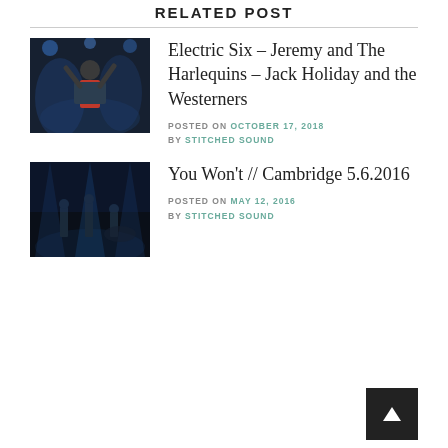RELATED POST
[Figure (photo): Concert photo of a performer with arms raised, wearing a red shirt and dark jacket, blue stage lighting]
Electric Six – Jeremy and The Harlequins – Jack Holiday and the Westerners
POSTED ON OCTOBER 17, 2018 BY STITCHED SOUND
[Figure (photo): Dark concert photo with blue stage lighting showing a band performing on stage]
You Won't // Cambridge 5.6.2016
POSTED ON MAY 12, 2016 BY STITCHED SOUND